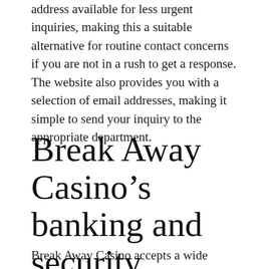address available for less urgent inquiries, making this a suitable alternative for routine contact concerns if you are not in a rush to get a response. The website also provides you with a selection of email addresses, making it simple to send your inquiry to the appropriate department.
Break Away Casino's banking and security procedures are second to none.
Break Away Casino accepts a wide range of